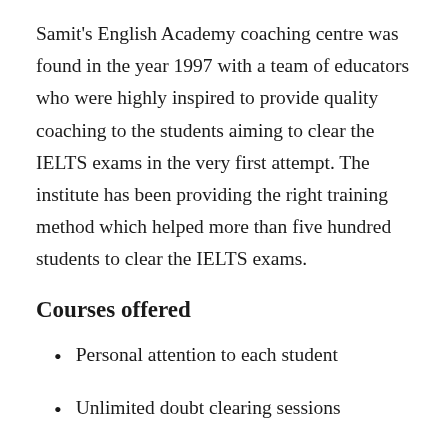Samit's English Academy coaching centre was found in the year 1997 with a team of educators who were highly inspired to provide quality coaching to the students aiming to clear the IELTS exams in the very first attempt. The institute has been providing the right training method which helped more than five hundred students to clear the IELTS exams.
Courses offered
Personal attention to each student
Unlimited doubt clearing sessions